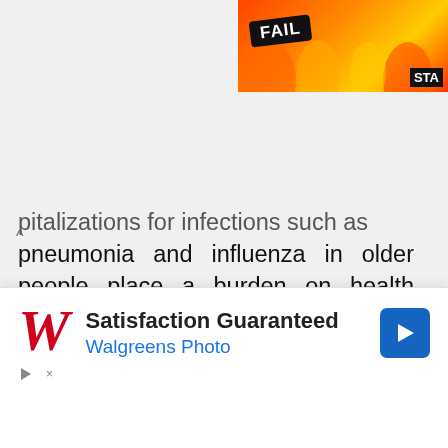[Figure (screenshot): Advertisement banner at top right showing a 'FAIL' badge with cartoon character and flames, with 'STA' text visible, on orange/red background]
pitalizations for infections such as pneumonia and influenza in older people place a burden on health systems. One strategy is to vaccinate older individuals against these diseases – but, due to the reduced efficiency of the immune system in old age, new vaccine strategies may be needed to overcome this immunosenescence, and the World Health Organization has identified the
[Figure (screenshot): Walgreens Photo advertisement showing 'Satisfaction Guaranteed' text, Walgreens Photo branding in blue, red stylized W logo, and a blue navigation arrow icon. Controls at bottom include play and close icons.]